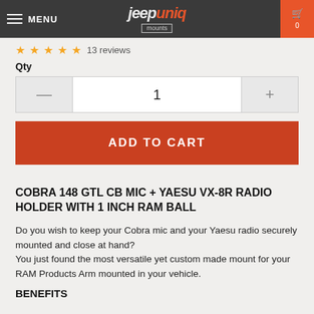MENU | jeepuniq mounts | 0
★★★★★ 13 reviews
Qty
1
ADD TO CART
COBRA 148 GTL CB MIC + YAESU VX-8R RADIO HOLDER WITH 1 INCH RAM BALL
Do you wish to keep your Cobra mic and your Yaesu radio securely mounted and close at hand?
You just found the most versatile yet custom made mount for your RAM Products Arm mounted in your vehicle.
BENEFITS